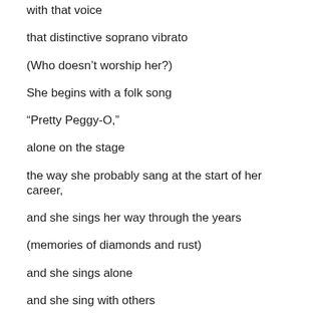with that voice
that distinctive soprano vibrato
(Who doesn't worship her?)
She begins with a folk song
“Pretty Peggy-O,”
alone on the stage
the way she probably sang at the start of her career,
and she sings her way through the years
(memories of diamonds and rust)
and she sings alone
and she sing with others